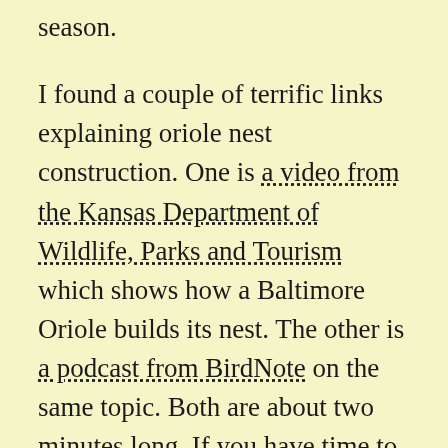season.
I found a couple of terrific links explaining oriole nest construction. One is a video from the Kansas Department of Wildlife, Parks and Tourism which shows how a Baltimore Oriole builds its nest. The other is a podcast from BirdNote on the same topic. Both are about two minutes long. If you have time to spare, you should definitely check the links out!
Last week I mentioned my summer 2019 goal of finding a hummingbird nest. I am adding finding a Baltimore Oriole's nest to my list. I'll